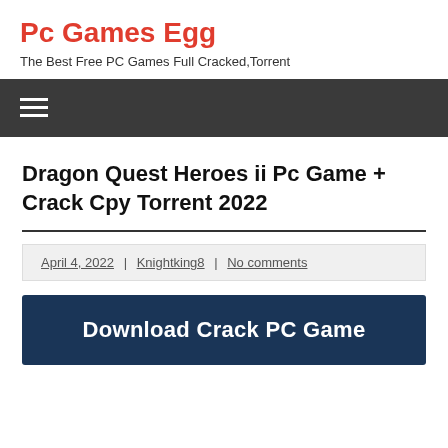Pc Games Egg
The Best Free PC Games Full Cracked,Torrent
Dragon Quest Heroes ii Pc Game + Crack Cpy Torrent 2022
April 4, 2022 | Knightking8 | No comments
Download Crack PC Game